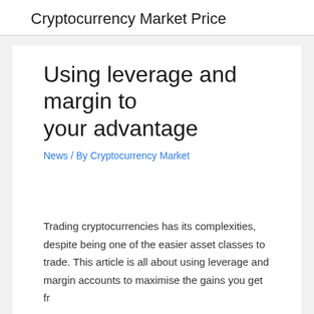Cryptocurrency Market Price
Using leverage and margin to your advantage
News / By Cryptocurrency Market
Trading cryptocurrencies has its complexities, despite being one of the easier asset classes to trade. This article is all about using leverage and margin accounts to maximise the gains you get fr